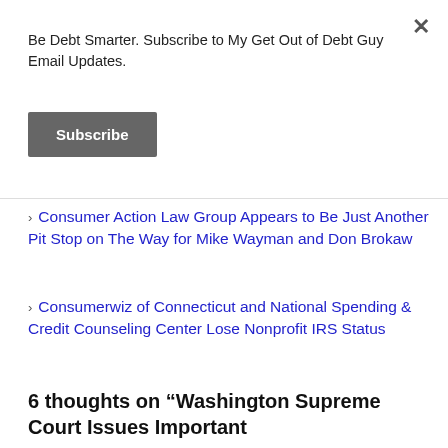Be Debt Smarter. Subscribe to My Get Out of Debt Guy Email Updates.
Subscribe
Consumer Action Law Group Appears to Be Just Another Pit Stop on The Way for Mike Wayman and Don Brokaw
Consumerwiz of Connecticut and National Spending & Credit Counseling Center Lose Nonprofit IRS Status
6 thoughts on “Washington Supreme Court Issues Important